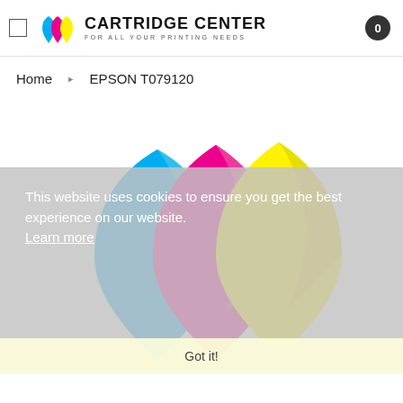[Figure (logo): Cartridge Center logo with three ink drop icons (cyan, magenta, yellow) and text 'CARTRIDGE CENTER / FOR ALL YOUR PRINTING NEEDS']
Home  ❯  EPSON T079120
[Figure (illustration): Three large ink drop shapes in cyan, magenta, and yellow arranged overlapping, representing printer ink cartridges. Cookie consent overlay on lower portion with text and Got it! button.]
This website uses cookies to ensure you get the best experience on our website. Learn more
Got it!